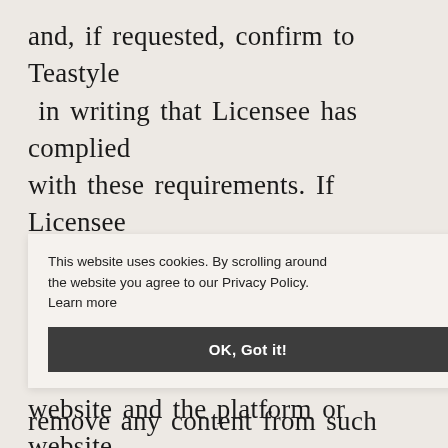and, if requested, confirm to Teastyle in writing that Licensee has complied with these requirements. If Licensee uses the Licensed Asset on a social media platform or other third party website and the platform or website uses (or announces that it plans to use) the Licensed Asset for its own purpose or in a way that is contrary to this … granted … y … pon … agrees to remove any content from such
This website uses cookies. By scrolling around the website you agree to our Privacy Policy. Learn more
OK, Got it!